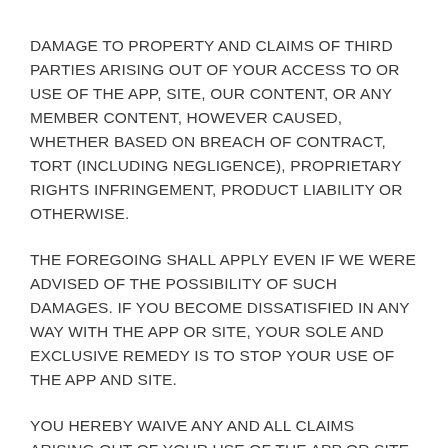DAMAGE TO PROPERTY AND CLAIMS OF THIRD PARTIES ARISING OUT OF YOUR ACCESS TO OR USE OF THE APP, SITE, OUR CONTENT, OR ANY MEMBER CONTENT, HOWEVER CAUSED, WHETHER BASED ON BREACH OF CONTRACT, TORT (INCLUDING NEGLIGENCE), PROPRIETARY RIGHTS INFRINGEMENT, PRODUCT LIABILITY OR OTHERWISE.
THE FOREGOING SHALL APPLY EVEN IF WE WERE ADVISED OF THE POSSIBILITY OF SUCH DAMAGES. IF YOU BECOME DISSATISFIED IN ANY WAY WITH THE APP OR SITE, YOUR SOLE AND EXCLUSIVE REMEDY IS TO STOP YOUR USE OF THE APP AND SITE.
YOU HEREBY WAIVE ANY AND ALL CLAIMS ARISING OUT OF YOUR USE OF THE APP OR SITE. BECAUSE